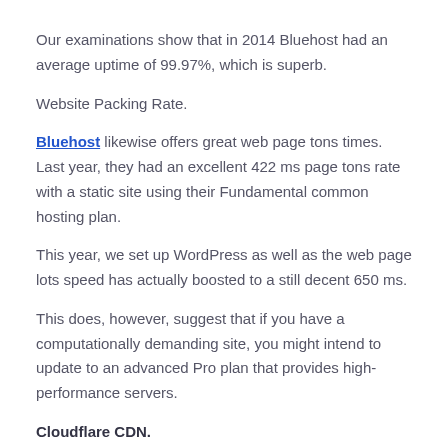Our examinations show that in 2014 Bluehost had an average uptime of 99.97%, which is superb.
Website Packing Rate.
Bluehost likewise offers great web page tons times. Last year, they had an excellent 422 ms page tons rate with a static site using their Fundamental common hosting plan.
This year, we set up WordPress as well as the web page lots speed has actually boosted to a still decent 650 ms.
This does, however, suggest that if you have a computationally demanding site, you might intend to update to an advanced Pro plan that provides high-performance servers.
Cloudflare CDN.